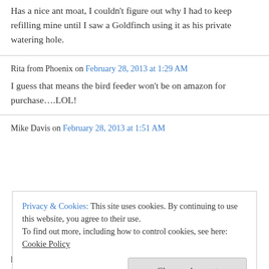Has a nice ant moat, I couldn't figure out why I had to keep refilling mine until I saw a Goldfinch using it as his private watering hole.
Rita from Phoenix on February 28, 2013 at 1:29 AM
I guess that means the bird feeder won't be on amazon for purchase….LOL!
Mike Davis on February 28, 2013 at 1:51 AM
Privacy & Cookies: This site uses cookies. By continuing to use this website, you agree to their use. To find out more, including how to control cookies, see here: Cookie Policy
Close and accept
hilarious.